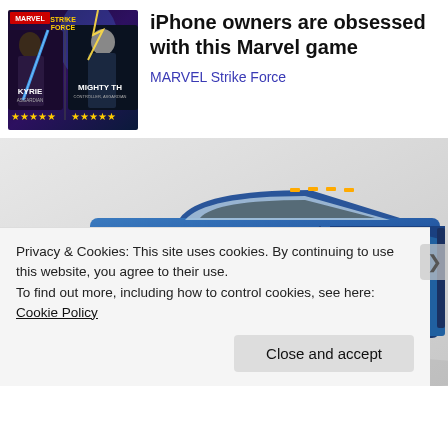[Figure (illustration): Marvel Strike Force game advertisement image showing Valkyrie and Mighty Thor characters with star ratings]
iPhone owners are obsessed with this Marvel game
MARVEL Strike Force
[Figure (photo): Blue RAM pickup truck (Ram 1500/2500) photographed from a front-side angle against a light grey background]
Privacy & Cookies: This site uses cookies. By continuing to use this website, you agree to their use.
To find out more, including how to control cookies, see here: Cookie Policy